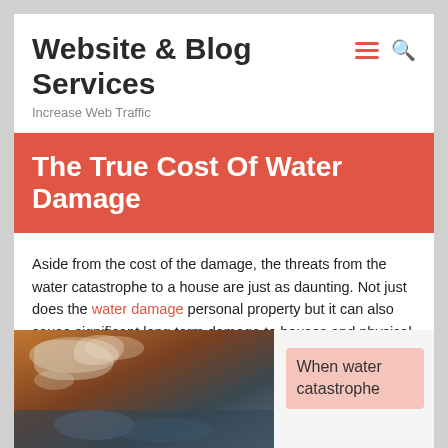Website & Blog Services
Increase Web Traffic
The True Cost Of Water Damage
Aside from the cost of the damage, the threats from the water catastrophe to a house are just as daunting. Not just does the water damage personal property but it can also cause significant long term damage to houses and physical health.
[Figure (photo): Photo of water-damaged wall showing mold and discoloration]
When water catastrophe